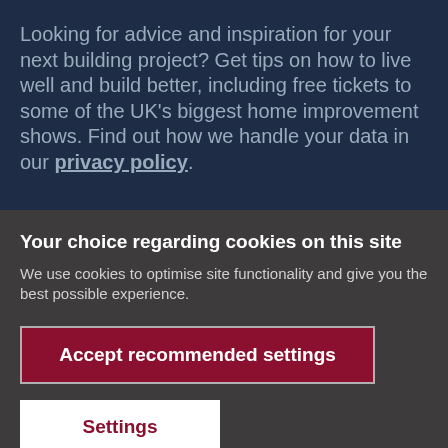Looking for advice and inspiration for your next building project? Get tips on how to live well and build better, including free tickets to some of the UK's biggest home improvement shows. Find out how we handle your data in our privacy policy.
Your choice regarding cookies on this site
We use cookies to optimise site functionality and give you the best possible experience.
Accept recommended settings
Settings